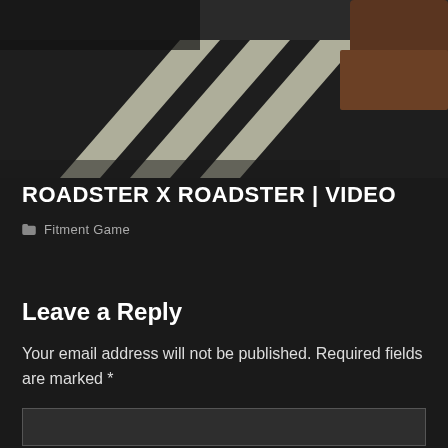[Figure (photo): A dark street/road photograph showing a crosswalk with white diagonal stripes and what appears to be a brown car on the right side at the top.]
ROADSTER X ROADSTER | VIDEO
Fitment Game
Leave a Reply
Your email address will not be published. Required fields are marked *
Comment *